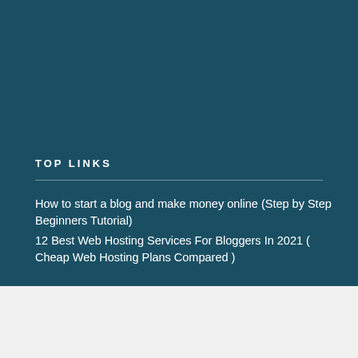TOP LINKS
How to start a blog and make money online (Step by Step Beginners Tutorial)
12 Best Web Hosting Services For Bloggers In 2021 ( Cheap Web Hosting Plans Compared )